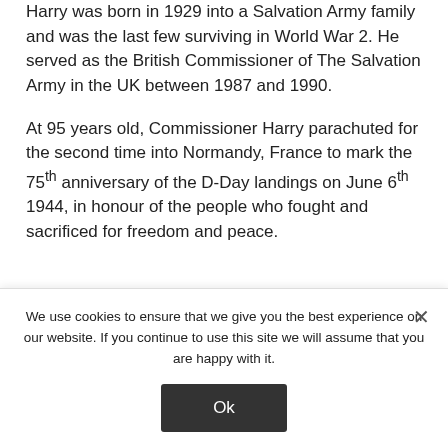Harry was born in 1929 into a Salvation Army family and was the last few surviving in World War 2. He served as the British Commissioner of The Salvation Army in the UK between 1987 and 1990.
At 95 years old, Commissioner Harry parachuted for the second time into Normandy, France to mark the 75th anniversary of the D-Day landings on June 6th 1944, in honour of the people who fought and sacrificed for freedom and peace.
We use cookies to ensure that we give you the best experience on our website. If you continue to use this site we will assume that you are happy with it.